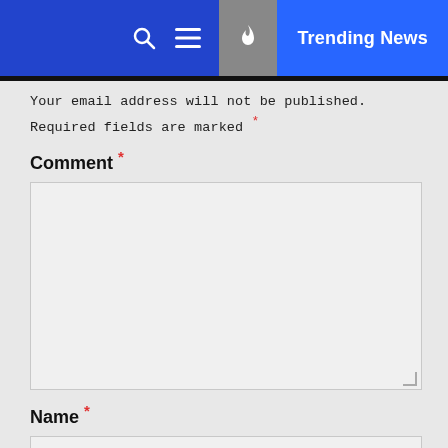Trending News
Your email address will not be published. Required fields are marked *
Comment *
[Figure (screenshot): Comment text area input field]
Name *
[Figure (screenshot): Name text input field]
Email *
[Figure (screenshot): Email text input field]